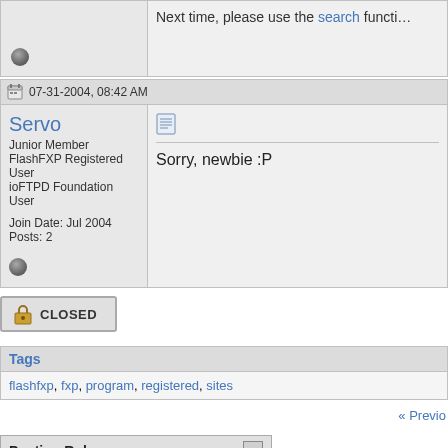Next time, please use the search functi…
07-31-2004, 08:42 AM
Servo
Junior Member
FlashFXP Registered User
ioFTPD Foundation User
Join Date: Jul 2004
Posts: 2
Sorry, newbie :P
CLOSED
Tags
flashfxp, fxp, program, registered, sites
« Previo
Posting Rules
You may not post new threads
You may not post replies
You may not post attachments